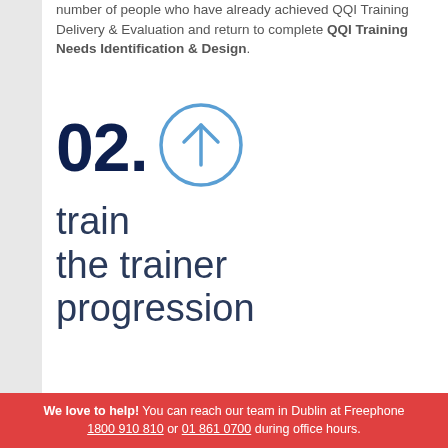number of people who have already achieved QQI Training Delivery & Evaluation and return to complete QQI Training Needs Identification & Design.
[Figure (infographic): Large bold '02.' in dark navy with an upward arrow inside a blue circle, followed by text 'train the trainer progression' in dark navy.]
Why?
We love to help! You can reach our team in Dublin at Freephone 1800 910 810 or 01 861 0700 during office hours.